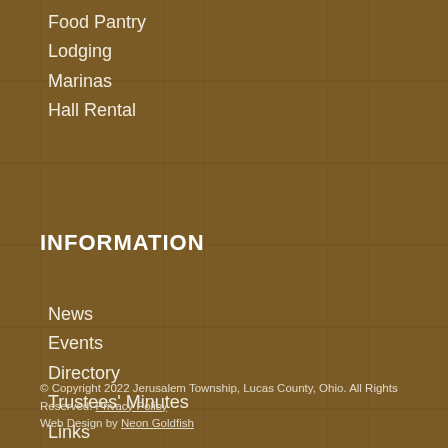Food Pantry
Lodging
Marinas
Hall Rental
INFORMATION
News
Events
Directory
Trustees' Minutes
Links
Privacy Policy
Sitemap
© Copyright 2022 Jerusalem Township, Lucas County, Ohio. All Rights Reserved. Privacy Policy
Web Design by Neon Goldfish